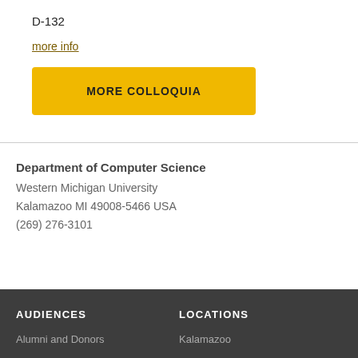D-132
more info
MORE COLLOQUIA
Department of Computer Science
Western Michigan University
Kalamazoo MI 49008-5466 USA
(269) 276-3101
AUDIENCES
Alumni and Donors
LOCATIONS
Kalamazoo